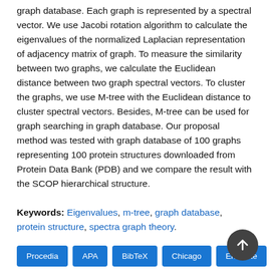graph database. Each graph is represented by a spectral vector. We use Jacobi rotation algorithm to calculate the eigenvalues of the normalized Laplacian representation of adjacency matrix of graph. To measure the similarity between two graphs, we calculate the Euclidean distance between two graph spectral vectors. To cluster the graphs, we use M-tree with the Euclidean distance to cluster spectral vectors. Besides, M-tree can be used for graph searching in graph database. Our proposal method was tested with graph database of 100 graphs representing 100 protein structures downloaded from Protein Data Bank (PDB) and we compare the result with the SCOP hierarchical structure.
Keywords: Eigenvalues, m-tree, graph database, protein structure, spectra graph theory.
Procedia | APA | BibTeX | Chicago | EndNote